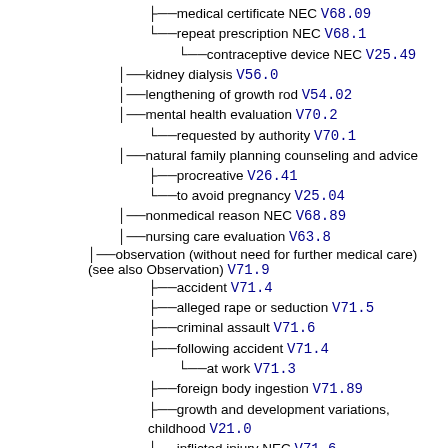medical certificate NEC V68.09
repeat prescription NEC V68.1
contraceptive device NEC V25.49
kidney dialysis V56.0
lengthening of growth rod V54.02
mental health evaluation V70.2
requested by authority V70.1
natural family planning counseling and advice
procreative V26.41
to avoid pregnancy V25.04
nonmedical reason NEC V68.89
nursing care evaluation V63.8
observation (without need for further medical care) (see also Observation) V71.9
accident V71.4
alleged rape or seduction V71.5
criminal assault V71.6
following accident V71.4
at work V71.3
foreign body ingestion V71.89
growth and development variations, childhood V21.0
inflicted injury NEC V71.6
ingestion of deleterious agent or foreign body V71.89